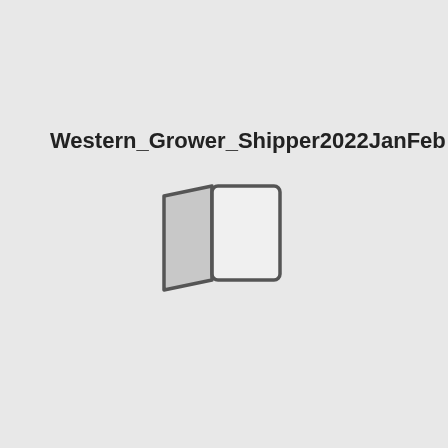Western_Grower_Shipper2022JanFeb
[Figure (illustration): Document or book icon — two overlapping rectangular panels suggesting an open book or folded pages, rendered in gray tones with dark outline strokes]